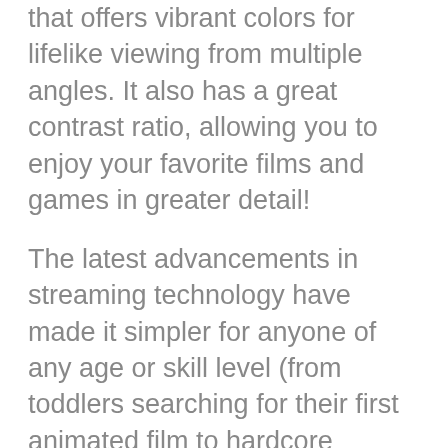that offers vibrant colors for lifelike viewing from multiple angles. It also has a great contrast ratio, allowing you to enjoy your favorite films and games in greater detail!
The latest advancements in streaming technology have made it simpler for anyone of any age or skill level (from toddlers searching for their first animated film to hardcore gamers) with something everyone will like—and that's not even its gorgeous picture quality.
The TCL 55" class has been created to be simple, so there are no confusing input systems cluttering its elegant form. With the ability and simplicity to watch your favorite TV program, stream channels, game consoles